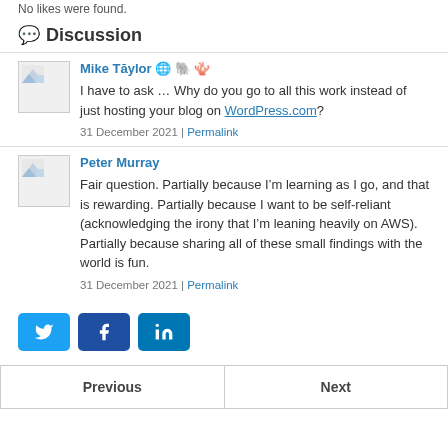No likes were found.
Discussion
Mike Taylor 🌐 🐘 🦋
I have to ask … Why do you go to all this work instead of just hosting your blog on WordPress.com?
31 December 2021 | Permalink
Peter Murray
Fair question. Partially because I'm learning as I go, and that is rewarding. Partially because I want to be self-reliant (acknowledging the irony that I'm leaning heavily on AWS). Partially because sharing all of these small findings with the world is fun.
31 December 2021 | Permalink
[Figure (other): Social share buttons: Twitter (blue), Facebook (dark blue), LinkedIn (teal blue)]
Previous | Next